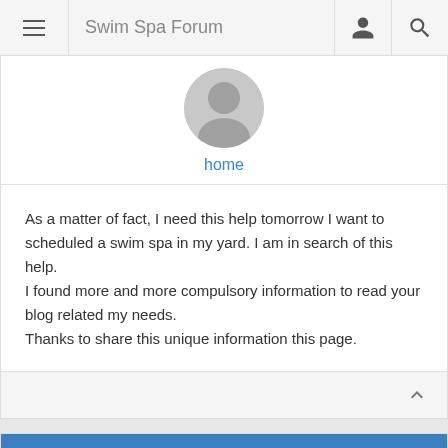Swim Spa Forum
[Figure (illustration): Grey default user avatar circle]
home
As a matter of fact, I need this help tomorrow I want to scheduled a swim spa in my yard. I am in search of this help.
I found more and more compulsory information to read your blog related my needs.
Thanks to share this unique information this page.
Re: Swim Spa in Basement
OFFLINE